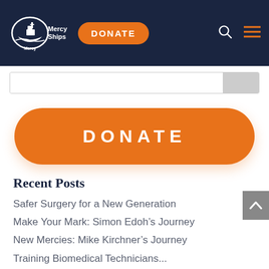Mercy Ships — DONATE navigation header
[Figure (screenshot): Search bar input area with a grey submit button on the right]
[Figure (other): Large orange rounded DONATE button]
Recent Posts
Safer Surgery for a New Generation
Make Your Mark: Simon Edoh’s Journey
New Mercies: Mike Kirchner’s Journey
Training Biomedical Technicians...